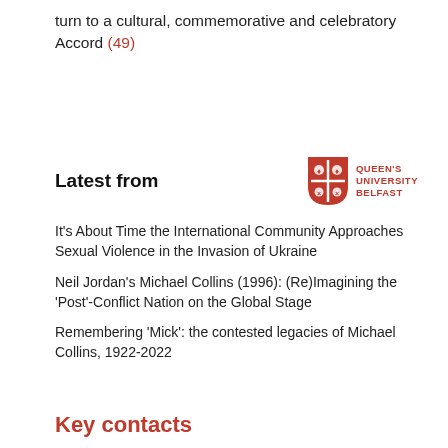turn to a cultural, commemorative and celebratory Accord (49)
Latest from
[Figure (logo): Queen's University Belfast logo with red shield and text]
It's About Time the International Community Approaches Sexual Violence in the Invasion of Ukraine
Neil Jordan's Michael Collins (1996): (Re)Imagining the 'Post'-Conflict Nation on the Global Stage
Remembering 'Mick': the contested legacies of Michael Collins, 1922-2022
Key contacts